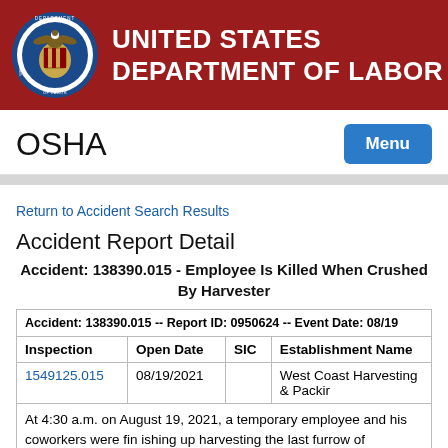UNITED STATES DEPARTMENT OF LABOR
OSHA
Return to Accident Search Results
Accident Report Detail
Accident: 138390.015 - Employee Is Killed When Crushed By Harvester
| Accident: 138390.015 -- Report ID: 0950624 -- Event Date: 08/19 |
| --- |
| Inspection | Open Date | SIC | Establishment Name |
| 1549125.015 | 08/19/2021 |  | West Coast Harvesting & Packir |
| At 4:30 a.m. on August 19, 2021, a temporary employee and his coworkers were fin ishing up harvesting the last furrow of tomatoes f |